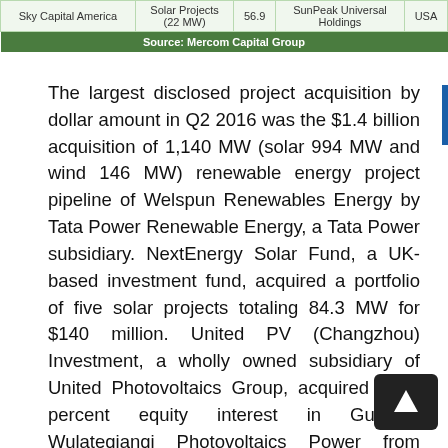|  |  |  |  |  |
| --- | --- | --- | --- | --- |
| Sky Capital America | Solar Projects (22 MW) | 56.9 | SunPeak Universal Holdings | USA |
| Source: Mercom Capital Group |  |  |  |  |
The largest disclosed project acquisition by dollar amount in Q2 2016 was the $1.4 billion acquisition of 1,140 MW (solar 994 MW and wind 146 MW) renewable energy project pipeline of Welspun Renewables Energy by Tata Power Renewable Energy, a Tata Power subsidiary. NextEnergy Solar Fund, a UK-based investment fund, acquired a portfolio of five solar projects totaling 84.3 MW for $140 million. United PV (Changzhou) Investment, a wholly owned subsidiary of United Photovoltaics Group, acquired a 99 percent equity interest in Guodian Wulateqianqi Photovoltaics Power from Forty-eighth Research Institute of China Electronics Technology Group for $75 million, which gave them a 50 MW solar project located in Inner Mongolia. 8point3 Energy Partners, a yieldco formed by First Solar and SunPower, acquired a...